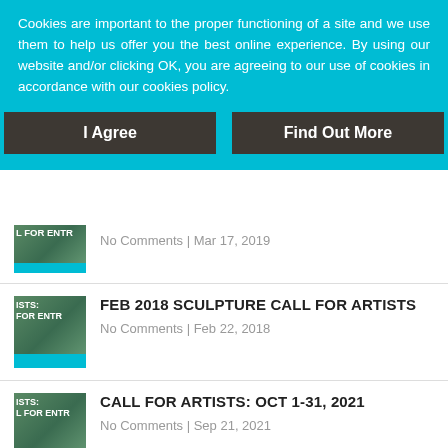Cookies are important to the proper functioning of a site and we use them to help us offer you the best online experience. By using our website and/or clicking OK, you are agreeing to our use of cookies in accordance with our cookies policy.
I Agree
Find Out More
No Comments | Mar 17, 2019
FEB 2018 SCULPTURE CALL FOR ARTISTS
No Comments | Feb 22, 2018
CALL FOR ARTISTS: OCT 1-31, 2021
No Comments | Sep 21, 2021
18 MORE CALL FOR ENTRIES FOR MARCH 2018
No Comments | Mar 12, 2018